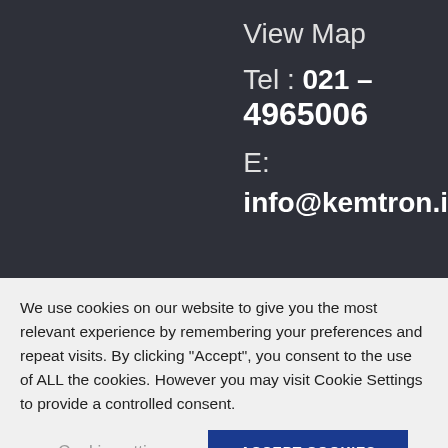View Map
Tel : 021 – 4965006
E:
info@kemtron.i
We use cookies on our website to give you the most relevant experience by remembering your preferences and repeat visits. By clicking “Accept”, you consent to the use of ALL the cookies. However you may visit Cookie Settings to provide a controlled consent.
Cookie settings
ACCEPT COOKIES